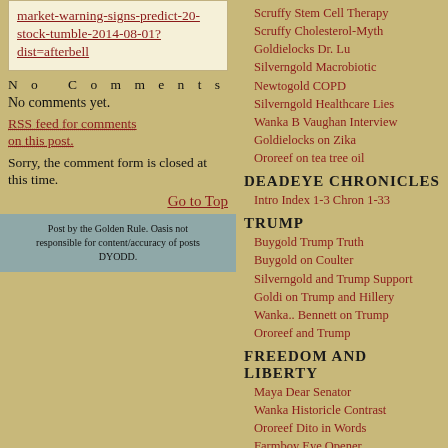market-warning-signs-predict-20-stock-tumble-2014-08-01?dist=afterbell
No Comments
No comments yet.
RSS feed for comments on this post.
Sorry, the comment form is closed at this time.
Go to Top
Post by the Golden Rule. Oasis not responsible for content/accuracy of posts DYODD.
Scruffy Stem Cell Therapy
Scruffy Cholesterol-Myth
Goldielocks Dr. Lu
Silverngold Macrobiotic
Newtogold COPD
Silverngold Healthcare Lies
Wanka B Vaughan Interview
Goldielocks on Zika
Ororeef on tea tree oil
DEADEYE CHRONICLES
Intro Index 1-3 Chron 1-33
TRUMP
Buygold Trump Truth
Buygold on Coulter
Silverngold and Trump Support
Goldi on Trump and Hillery
Wanka.. Bennett on Trump
Ororeef and Trump
FREEDOM and LIBERTY
Maya Dear Senator
Wanka Historicle Contrast
Ororeef Dito in Words
Farmboy Eye Opener
Newtogold Laws Hillery Broke
GUN CONTROL
Scruffy & Dems
IMMIGRATION